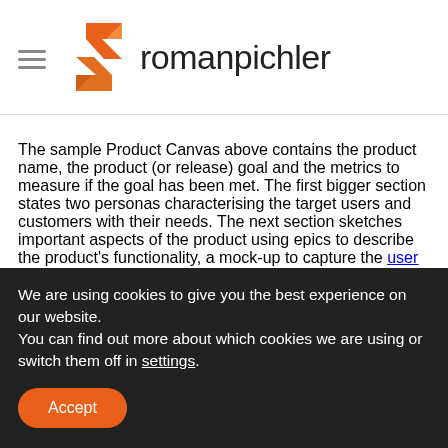romanpichler
The sample Product Canvas above contains the product name, the product (or release) goal and the metrics to measure if the goal has been met. The first bigger section states two personas characterising the target users and customers with their needs. The next section sketches important aspects of the product using epics to describe the product's functionality, a mock-up to capture the user interface design, a storyboard to illustrate the
We are using cookies to give you the best experience on our website.
You can find out more about which cookies we are using or switch them off in settings.
Accept